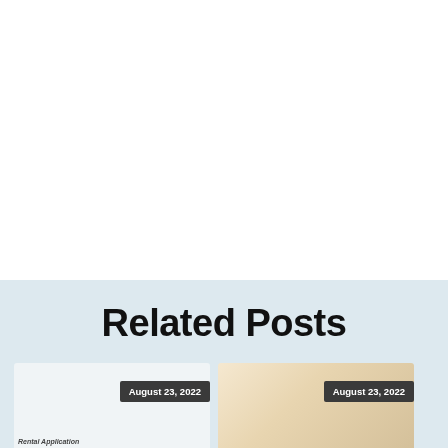Related Posts
[Figure (screenshot): Thumbnail image of a rental application document with date badge 'August 23, 2022']
[Figure (photo): Thumbnail photo with warm beige/gold tones with date badge 'August 23, 2022']